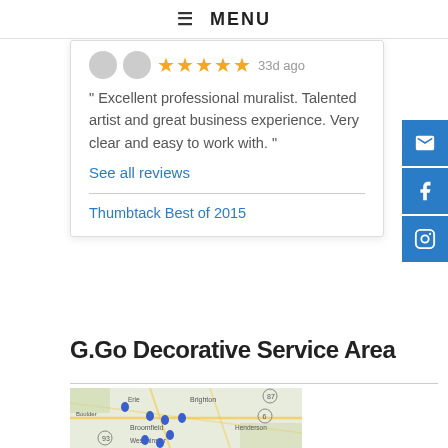☰ MENU
★★★★★ 33d ago
" Excellent professional muralist. Talented artist and great business experience. Very clear and easy to work with. "
See all reviews
Thumbtack Best of 2015
G.Go Decorative Service Area
[Figure (map): Google map showing service area with multiple blue location pin markers around the Boulder, Broomfield, Westminster area in Colorado]